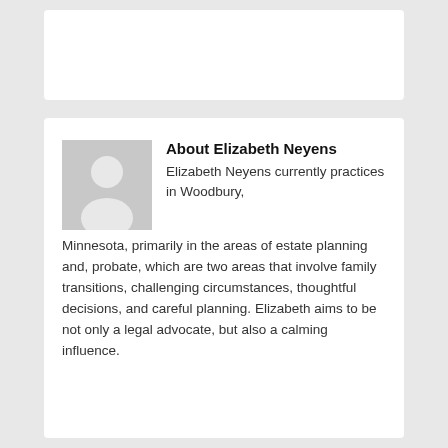[Figure (other): Top white card placeholder area]
About Elizabeth Neyens
Elizabeth Neyens currently practices in Woodbury, Minnesota, primarily in the areas of estate planning and, probate, which are two areas that involve family transitions, challenging circumstances, thoughtful decisions, and careful planning. Elizabeth aims to be not only a legal advocate, but also a calming influence.